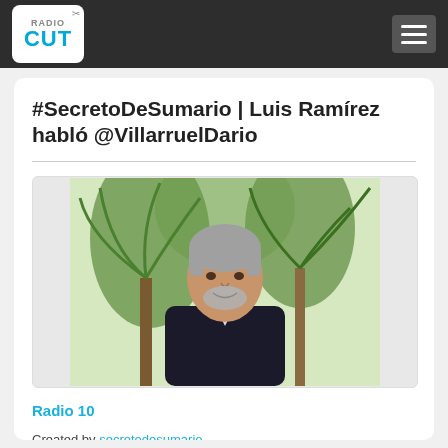Radio Cut
#SecretoDeSumario | Luis Ramírez habló @VillarruelDario
[Figure (photo): Portrait photo of Luis Ramírez, an older man with gray hair and beard wearing a dark blazer, standing in front of tropical plants.]
Radio 10
Created by secretodesumario